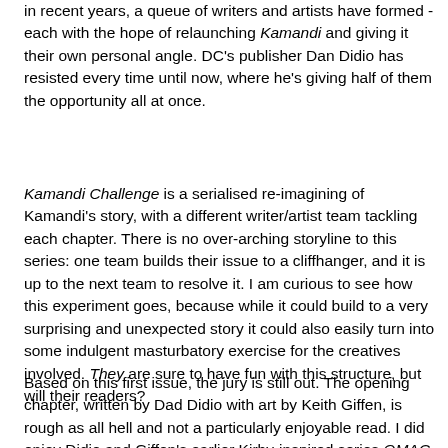in recent years, a queue of writers and artists have formed - each with the hope of relaunching Kamandi and giving it their own personal angle. DC's publisher Dan Didio has resisted every time until now, where he's giving half of them the opportunity all at once.
Kamandi Challenge is a serialised re-imagining of Kamandi's story, with a different writer/artist team tackling each chapter. There is no over-arching storyline to this series: one team builds their issue to a cliffhanger, and it is up to the next team to resolve it. I am curious to see how this experiment goes, because while it could build to a very surprising and unexpected story it could also easily turn into some indulgent masturbatory exercise for the creatives involved. They are sure to have fun with this structure, but will their readers?
Based on this first issue, the jury is still out. The opening chapter, written by Dad Didio with art by Keith Giffen, is rough as all hell and not a particularly enjoyable read. I did enjoy Didio and Giffen's earlier Kirby-inspired series OMAC, but the creativity seen there does not follow them here. The second chapter by Dad Abbott and Dale Eaglesham is much